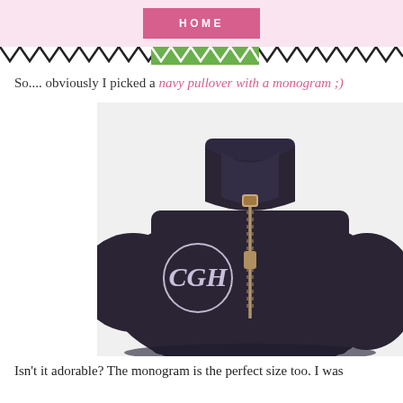HOME
So.... obviously I picked a navy pullover with a monogram ;)
[Figure (photo): A navy blue quarter-zip pullover sweatshirt with a monogrammed embroidery (initials CGH) on the left chest, folded and displayed on a white background.]
Isn't it adorable? The monogram is the perfect size too. I was